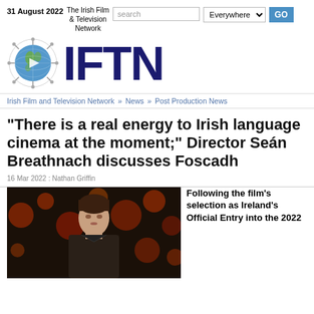31 August 2022 | The Irish Film & Television Network | search | Everywhere | GO
[Figure (logo): IFTN globe logo with large dark blue IFTN text]
Irish Film and Television Network » News » Post Production News
“There is a real energy to Irish language cinema at the moment;” Director Seán Breathnach discusses Foscadh
16 Mar 2022 : Nathan Griffin
[Figure (photo): Young man standing in front of blurred bokeh lights, film still from Foscadh]
Following the film’s selection as Ireland’s Official Entry into the 2022